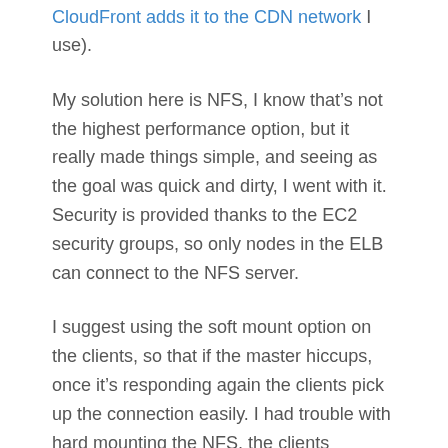CloudFront adds it to the CDN network I use).
My solution here is NFS, I know that’s not the highest performance option, but it really made things simple, and seeing as the goal was quick and dirty, I went with it. Security is provided thanks to the EC2 security groups, so only nodes in the ELB can connect to the NFS server.
I suggest using the soft mount option on the clients, so that if the master hiccups, once it’s responding again the clients pick up the connection easily. I had trouble with hard mounting the NFS, the clients become unresponsive, even when the server was running properly again.
Data Safety
I use Eric Hammonds awesome EC2 consistent snapshot as a cron job, this takes a snapshot of the master node